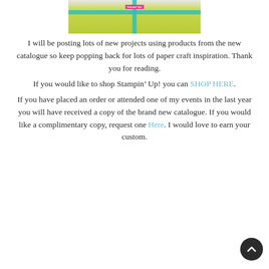[Figure (photo): A wrapped gift box with yellow-green paper, teal ribbon, and a Stampin' Up! label on top, photographed from above.]
I will be posting lots of new projects using products from the new catalogue so keep popping back for lots of paper craft inspiration. Thank you for reading.
If you would like to shop Stampin’ Up! you can SHOP HERE.
If you have placed an order or attended one of my events in the last year you will have received a copy of the brand new catalogue. If you would like a complimentary copy, request one Here. I would love to earn your custom.